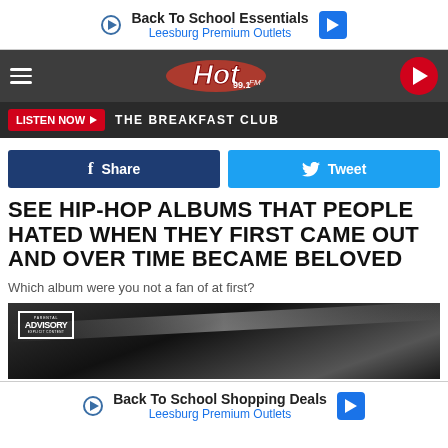[Figure (infographic): Ad banner: Back To School Essentials - Leesburg Premium Outlets with play and navigation icons]
[Figure (logo): Hot 99.1 FM radio station logo with hamburger menu and play button]
[Figure (infographic): Navigation bar with LISTEN NOW button and THE BREAKFAST CLUB label]
[Figure (infographic): Facebook Share button (dark blue) and Twitter Tweet button (light blue)]
SEE HIP-HOP ALBUMS THAT PEOPLE HATED WHEN THEY FIRST CAME OUT AND OVER TIME BECAME BELOVED
Which album were you not a fan of at first?
[Figure (photo): Black and white album cover photo with Parental Advisory Explicit Content label]
[Figure (infographic): Ad banner: Back To School Shopping Deals - Leesburg Premium Outlets with play and navigation icons]